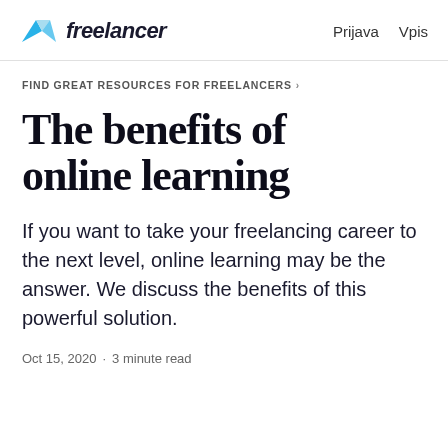freelancer  Prijava  Vpis
FIND GREAT RESOURCES FOR FREELANCERS ›
The benefits of online learning
If you want to take your freelancing career to the next level, online learning may be the answer. We discuss the benefits of this powerful solution.
Oct 15, 2020 · 3 minute read